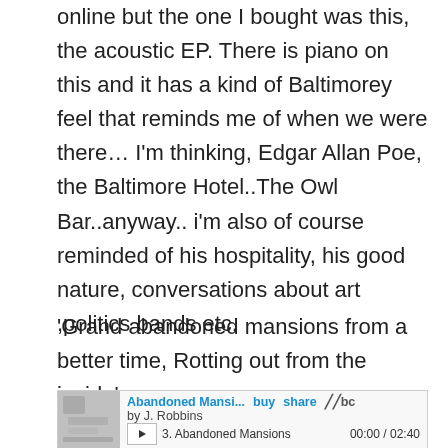online but the one I bought was this, the acoustic EP. There is piano on this and it has a kind of Baltimorey feel that reminds me of when we were there… I'm thinking, Edgar Allan Poe, the Baltimore Hotel..The Owl Bar..anyway.. i'm also of course reminded of his hospitality, his good nature, conversations about art ,politics bands etc.
'Grand abandoned mansions from a better time, Rotting out from the inside'
[Figure (screenshot): Bandcamp music player showing 'Abandoned Mansi...' by J. Robbins with buy, share, and bc links. Track 3. Abandoned Mansions, time 00:00 / 02:40. Album art thumbnail on the left.]